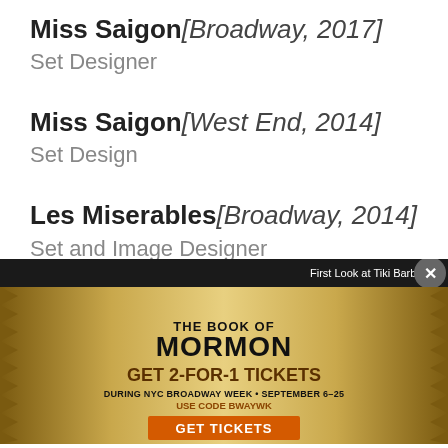Miss Saigon [Broadway, 2017] — Set Designer
Miss Saigon [West End, 2014] — Set Design
Les Miserables [Broadway, 2014] — Set and Image Designer
Les Miserables [US Tour, 2010]
[Figure (infographic): Advertisement for The Book of Mormon musical. Text: First Look at Tiki Barber in THE BOOK OF MORMON. GET 2-FOR-1 TICKETS DURING NYC BROADWAY WEEK • SEPTEMBER 6-25 USE CODE BWAYWK. GET TICKETS button. Gold glitter starburst background with close button.]